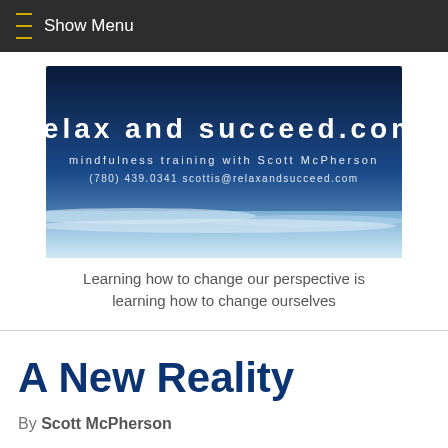≡ Show Menu
[Figure (illustration): Banner image for relaxandsucceed.com showing a sky background with white text: 'relax and succeed.com', 'mindfulness training with Scott McPherson', '(780) 439.0341 scottis@relaxandsucceed.com']
Learning how to change our perspective is learning how to change ourselves
A New Reality
By Scott McPherson